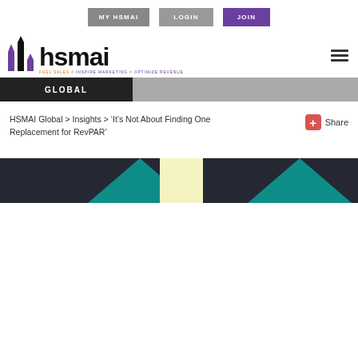MY HSMAI  LOGIN  JOIN
[Figure (logo): HSMAI logo with colored building icon and tagline: FUEL SALES # INSPIRE MARKETING # OPTIMIZE REVENUE]
GLOBAL
HSMAI Global > Insights > 'It's Not About Finding One Replacement for RevPAR'
[Figure (illustration): Dark banner image with cyan triangles and a pale yellow square in the center, decorative header graphic]